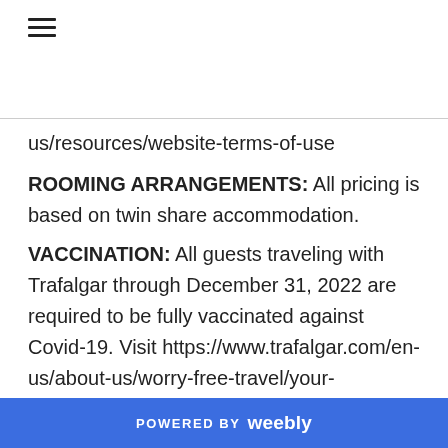[Figure (other): Hamburger menu icon (three horizontal lines)]
us/resources/website-terms-of-use
ROOMING ARRANGEMENTS: All pricing is based on twin share accommodation.
VACCINATION: All guests traveling with Trafalgar through December 31, 2022 are required to be fully vaccinated against Covid-19. Visit https://www.trafalgar.com/en-us/about-us/worry-free-travel/your-wellbeing-is-our-priority for additional details.
POWERED BY weebly